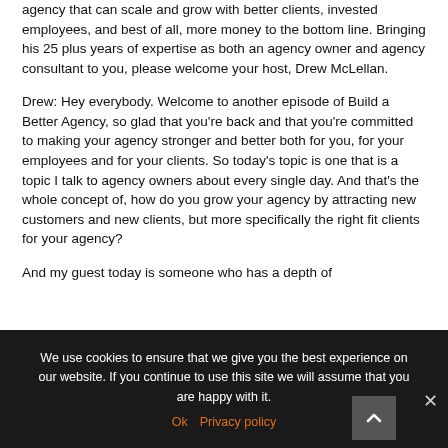agency that can scale and grow with better clients, invested employees, and best of all, more money to the bottom line. Bringing his 25 plus years of expertise as both an agency owner and agency consultant to you, please welcome your host, Drew McLellan.
Drew: Hey everybody. Welcome to another episode of Build a Better Agency, so glad that you're back and that you're committed to making your agency stronger and better both for you, for your employees and for your clients. So today's topic is one that is a topic I talk to agency owners about every single day. And that's the whole concept of, how do you grow your agency by attracting new customers and new clients, but more specifically the right fit clients for your agency?
And my guest today is someone who has a depth of
We use cookies to ensure that we give you the best experience on our website. If you continue to use this site we will assume that you are happy with it.
Ok   Privacy policy